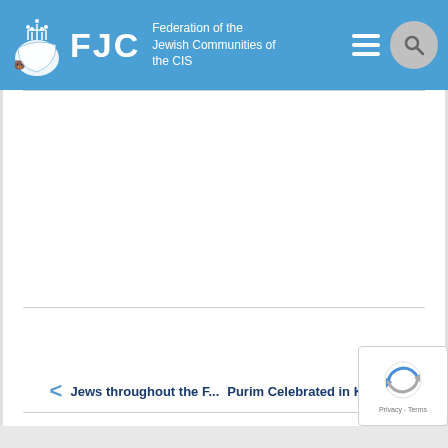FJC - Federation of the Jewish Communities of the CIS
[Figure (screenshot): Empty white content area with navigation links at bottom]
Jews throughout the F...  Purim Celebrated in Ki...
[Figure (other): reCAPTCHA badge with Privacy - Terms text]